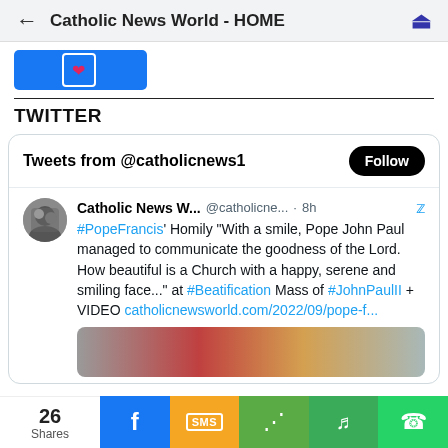Catholic News World - HOME
[Figure (screenshot): Blue Facebook-style button with heart/like icon]
TWITTER
[Figure (screenshot): Twitter widget showing 'Tweets from @catholicnews1' with Follow button and a tweet from Catholic News W... @catholicne... · 8h: #PopeFrancis' Homily "With a smile, Pope John Paul managed to communicate the goodness of the Lord. How beautiful is a Church with a happy, serene and smiling face..." at #Beatification Mass of #JohnPaulII + VIDEO catholicnewsworld.com/2022/09/pope-f...]
26 Shares